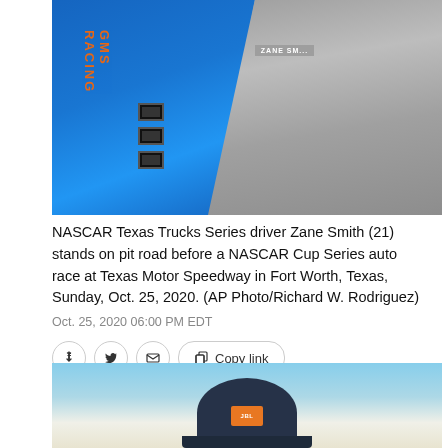[Figure (photo): NASCAR Texas Trucks Series driver Zane Smith (21) in blue GMS Racing suit standing next to someone in a gray racing suit on pit road at Texas Motor Speedway.]
NASCAR Texas Trucks Series driver Zane Smith (21) stands on pit road before a NASCAR Cup Series auto race at Texas Motor Speedway in Fort Worth, Texas, Sunday, Oct. 25, 2020. (AP Photo/Richard W. Rodriguez)
Oct. 25, 2020 06:00 PM EDT
[Figure (photo): Bottom portion of a second photo showing a dark navy/charcoal baseball cap with an orange logo patch, against a light blue sky background.]